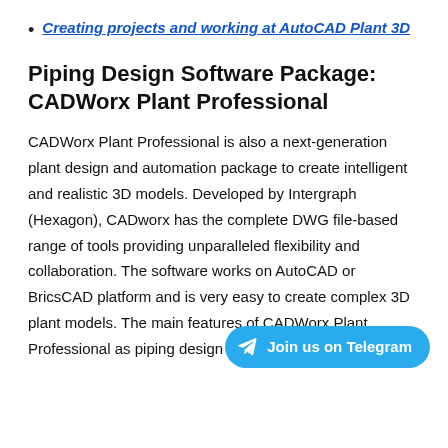Creating projects and working at AutoCAD Plant 3D
Piping Design Software Package: CADWorx Plant Professional
CADWorx Plant Professional is also a next-generation plant design and automation package to create intelligent and realistic 3D models. Developed by Intergraph (Hexagon), CADworx has the complete DWG file-based range of tools providing unparalleled flexibility and collaboration. The software works on AutoCAD or BricsCAD platform and is very easy to create complex 3D plant models. The main features of CADWorx Plant Professional as piping design software are: